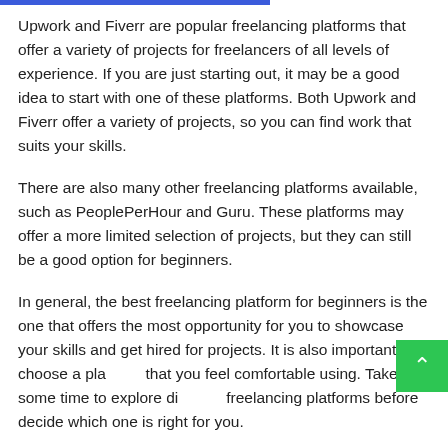Upwork and Fiverr are popular freelancing platforms that offer a variety of projects for freelancers of all levels of experience. If you are just starting out, it may be a good idea to start with one of these platforms. Both Upwork and Fiverr offer a variety of projects, so you can find work that suits your skills.
There are also many other freelancing platforms available, such as PeoplePerHour and Guru. These platforms may offer a more limited selection of projects, but they can still be a good option for beginners.
In general, the best freelancing platform for beginners is the one that offers the most opportunity for you to showcase your skills and get hired for projects. It is also important to choose a platform that you feel comfortable using. Take some time to explore different freelancing platforms before decide which one is right for you.
How can I learn freelancing for